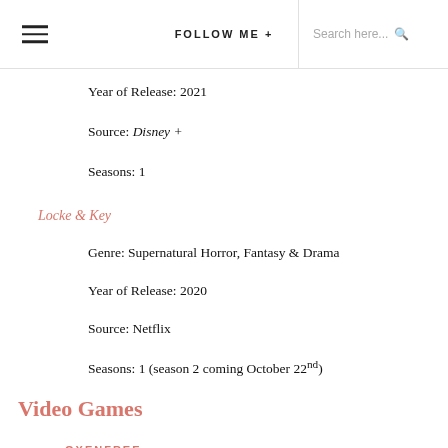FOLLOW ME + | Search here...
Year of Release: 2021
Source: Disney +
Seasons: 1
Locke & Key
Genre: Supernatural Horror, Fantasy & Drama
Year of Release: 2020
Source: Netflix
Seasons: 1 (season 2 coming October 22nd)
Video Games
OXENFREE
Genre: Indie & Adventure